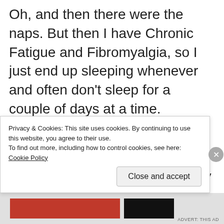Oh, and then there were the naps. But then I have Chronic Fatigue and Fibromyalgia, so I just end up sleeping whenever and often don't sleep for a couple of days at a time.
Then there is the manic binge watching. I have this addictive nature, it runs in the males in my family, it's why I don't touch alcohol. Once I watch the first episode of something then I must see them all. Or if there is a genre of film, I just gotta see whatever else I can find in that genre or by that movie star.
Privacy & Cookies: This site uses cookies. By continuing to use this website, you agree to their use. To find out more, including how to control cookies, see here: Cookie Policy